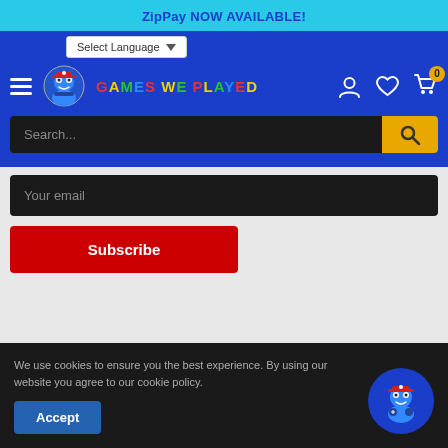ZipPay NOW AVAILABLE!
[Figure (screenshot): Website navigation header with hamburger menu, Games We Played logo, user/heart/cart icons, language selector, and search bar]
Your email
Subscribe
We use cookies to ensure you the best experience. By using our website you agree to our cookie policy.
Accept